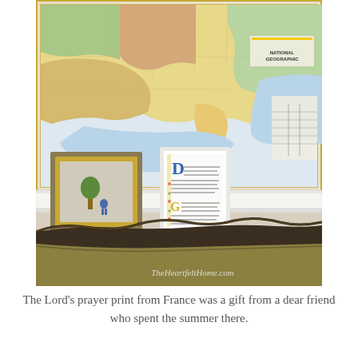[Figure (photo): A room interior showing a white shelf with a large National Geographic map of the United States on the wall behind it. On the shelf sit two framed items: a gold-framed child's drawing on the left and a white-framed Lord's prayer print in French on the right. Below the shelf is a dark wood ornate sofa/settee with an olive green cushion. The watermark 'TheHeartfeltHome.com' appears in the lower right of the photo.]
The Lord's prayer print from France was a gift from a dear friend who spent the summer there.